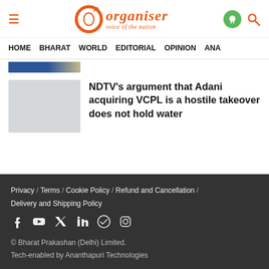Organiser — voice of the nation
HOME   BHARAT   WORLD   EDITORIAL   OPINION   ANA
NDTV's argument that Adani acquiring VCPL is a hostile takeover does not hold water
Privacy / Terms / Cookie Policy / Refund and Cancellation / Delivery and Shipping Policy
© Bharat Prakashan (Delhi) Limited.
Tech-enabled by Ananthapuri Technologies